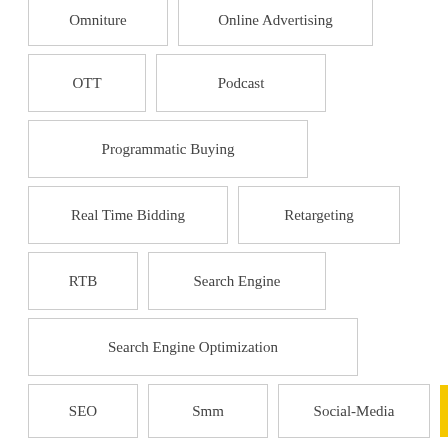Omniture
Online Advertising
OTT
Podcast
Programmatic Buying
Real Time Bidding
Retargeting
RTB
Search Engine
Search Engine Optimization
SEO
Smm
Social-Media